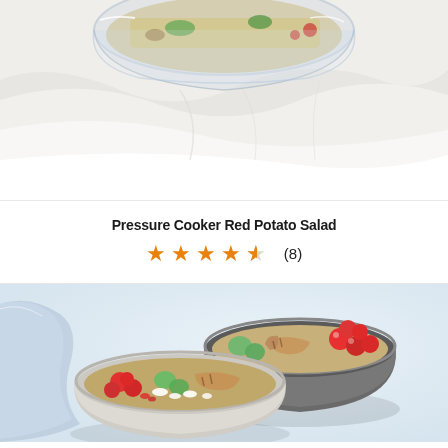[Figure (photo): Top-down view of a glass bowl containing a salad with grains and vegetables, placed on a white linen cloth. The image is cropped to show only the upper portion of the bowl and cloth.]
Pressure Cooker Red Potato Salad
★★★★½ (8)
[Figure (photo): Two ceramic bowls containing grain salad bowls with cherry tomatoes, cucumber, grilled chicken, and feta cheese, arranged on a light blue background with a blue cloth napkin.]